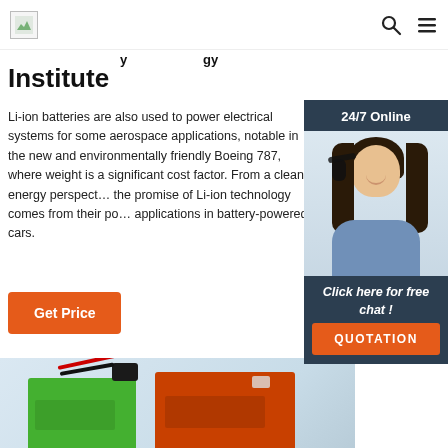Institute
Li-ion batteries are also used to power electrical systems for some aerospace applications, notable in the new and environmentally friendly Boeing 787, where weight is a significant cost factor. From a clean energy perspective, the promise of Li-ion technology comes from their potential applications in battery-powered cars.
[Figure (screenshot): 24/7 Online chat widget with a customer service representative photo, 'Click here for free chat!' text, and a QUOTATION button]
Get Price
[Figure (photo): Photo of green and orange Li-ion battery packs with red and black wires and connector]